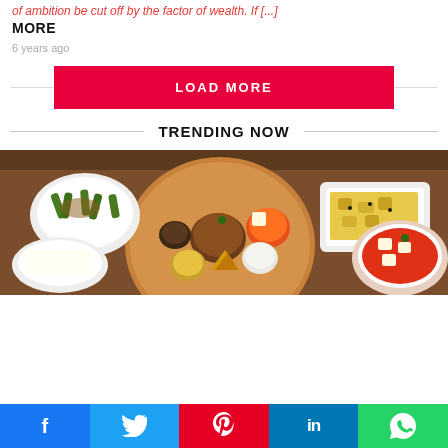of ambition be cut off by the factor of wealth. If [...]
MORE
6 years ago
LOAD MORE
TRENDING NOW
[Figure (photo): Overhead shot of Indian food spread on a wooden table, with various dishes including curries, rice, and vegetable dishes arranged on a round platter.]
f  Twitter  P  in  WhatsApp